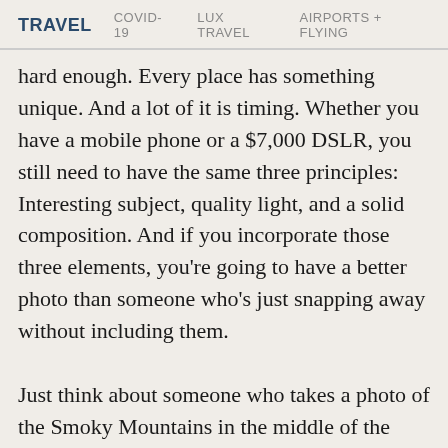TRAVEL   COVID-19   LUX TRAVEL   AIRPORTS + FLYING
hard enough. Every place has something unique. And a lot of it is timing. Whether you have a mobile phone or a $7,000 DSLR, you still need to have the same three principles: Interesting subject, quality light, and a solid composition. And if you incorporate those three elements, you’re going to have a better photo than someone who’s just snapping away without including them.
Just think about someone who takes a photo of the Smoky Mountains in the middle of the day. It doesn’t really matter what device they’re using. Now compare it with someone who took the time to stop at one of the beautiful overlooks at sunset with the fog rolling in over the blue hills. It’s obvious